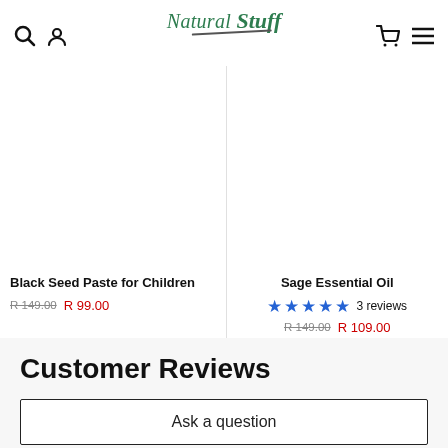Natural Stuff — navigation header with search, user, cart, and menu icons
Black Seed Paste for Children — R 149.00 R 99.00
Sage Essential Oil — 5 stars, 3 reviews — R 149.00 R 109.00
Customer Reviews
Ask a question